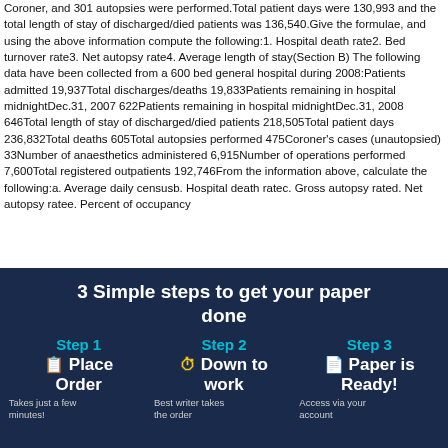Coroner, and 301 autopsies were performed.Total patient days were 130,993 and the total length of stay of discharged/died patients was 136,540.Give the formulae, and using the above information compute the following:1. Hospital death rate2. Bed turnover rate3. Net autopsy rate4. Average length of stay(Section B) The following data have been collected from a 600 bed general hospital during 2008:Patients admitted 19,937Total discharges/deaths 19,833Patients remaining in hospital midnightDec.31, 2007 622Patients remaining in hospital midnightDec.31, 2008 646Total length of stay of discharged/died patients 218,505Total patient days 236,832Total deaths 605Total autopsies performed 475Coroner's cases (unautopsied) 33Number of anaesthetics administered 6,915Number of operations performed 7,600Total registered outpatients 192,746From the information above, calculate the following:a. Average daily censusb. Hospital death ratec. Gross autopsy rated. Net autopsy ratee. Percent of occupancy
[Figure (infographic): Banner with '3 Simple steps to get your paper done' title on dark navy background, showing Step 1 (Place Order), Step 2 (Down to work), Step 3 (Paper is Ready!) with descriptions.]